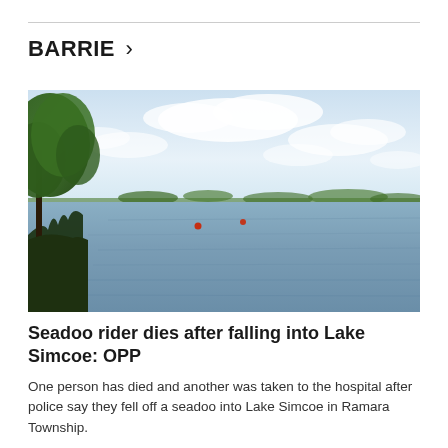BARRIE >
[Figure (photo): A calm lake scene with trees on the left shoreline, open water extending to a distant tree-lined horizon under a partly cloudy sky. Two small red buoys are visible on the water.]
Seadoo rider dies after falling into Lake Simcoe: OPP
One person has died and another was taken to the hospital after police say they fell off a seadoo into Lake Simcoe in Ramara Township.